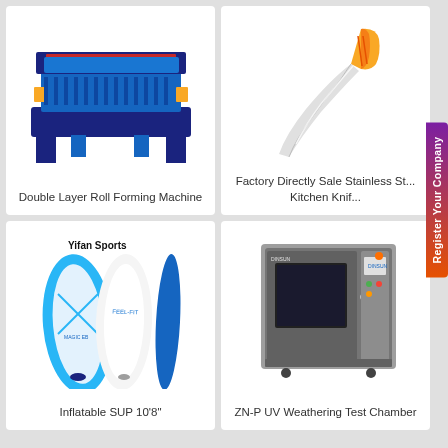[Figure (photo): Double Layer Roll Forming Machine - industrial blue metal machine]
Double Layer Roll Forming Machine
[Figure (photo): Factory Directly Sale Stainless Steel Kitchen Knife with yellow handle]
Factory Directly Sale Stainless St... Kitchen Knif...
[Figure (photo): Yifan Sports Inflatable SUP 10'8" paddleboards in blue and white]
Inflatable SUP 10'8"
[Figure (photo): ZN-P UV Weathering Test Chamber - grey industrial testing machine]
ZN-P UV Weathering Test Chamber
Register Your Company